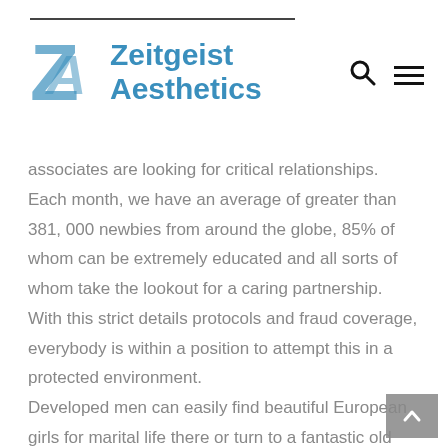Zeitgeist Aesthetics
associates are looking for critical relationships. Each month, we have an average of greater than 381, 000 newbies from around the globe, 85% of whom can be extremely educated and all sorts of whom take the lookout for a caring partnership. With this strict details protocols and fraud coverage, everybody is within a position to attempt this in a protected environment.
Developed men can easily find beautiful European girls for marital life there or turn to a fantastic old method of getting to grasp someone by way of mutual friends. European lonely women are most likely to recognise extra with regards to the gentlemen they'd take a00 date with as a result of they can be introduced to each other in parties. Females from the US are